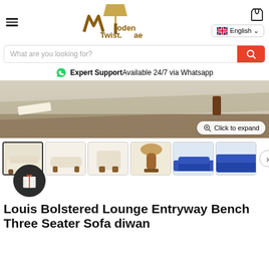WoodenTwist.ae — English language selector, hamburger menu, cart icon
What are you looking for?
Expert Support Available 24/7 via Whatsapp
[Figure (photo): Partial product image showing a sofa/bench with wooden legs on a rug, with a book on the floor. A 'Click to expand' button overlay is visible.]
[Figure (photo): Thumbnail gallery row showing six product images of the Louis Bolstered Lounge Entryway Bench: full sofa view, side view, armchair view, wooden leg detail, blue sofa in room, blue sofa close-up. A next arrow button is visible.]
Louis Bolstered Lounge Entryway Bench Three Seater Sofa diwan